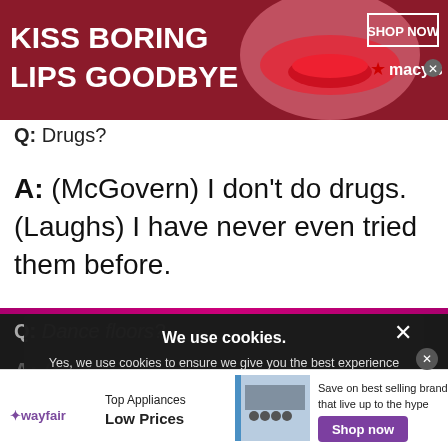[Figure (screenshot): Macy's advertisement banner with text 'KISS BORING LIPS GOODBYE', a woman's face with red lips, 'SHOP NOW' button, and Macy's logo]
Q: Drugs?
A: (McGovern) I don't do drugs. (Laughs) I have never even tried them before.
Q: Dance floors?
A: (M...
We use cookies. Yes, we use cookies to ensure we give you the best experience using this website. By closing this box or clicking on the continue button, you agree to our terms of use and consent to the use of
[Figure (screenshot): Wayfair advertisement: 'Top Appliances Low Prices' with stove image and 'Shop now' button]